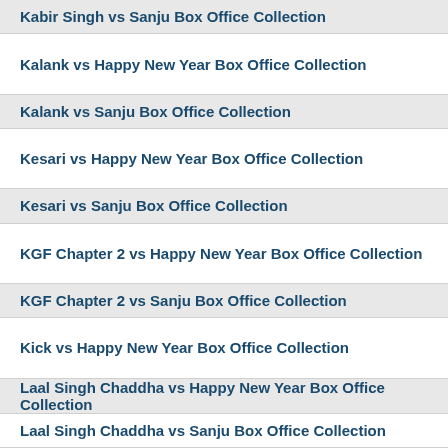Kabir Singh vs Sanju Box Office Collection
Kalank vs Happy New Year Box Office Collection
Kalank vs Sanju Box Office Collection
Kesari vs Happy New Year Box Office Collection
Kesari vs Sanju Box Office Collection
KGF Chapter 2 vs Happy New Year Box Office Collection
KGF Chapter 2 vs Sanju Box Office Collection
Kick vs Happy New Year Box Office Collection
Laal Singh Chaddha vs Happy New Year Box Office Collection
Laal Singh Chaddha vs Sanju Box Office Collection